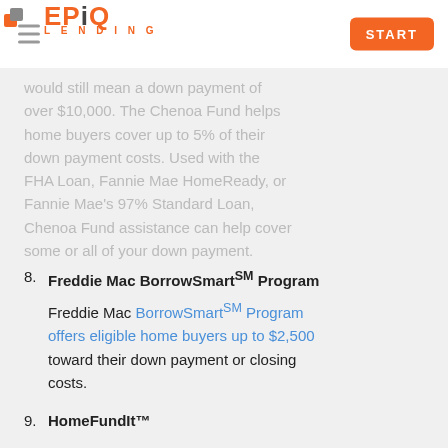EPiQ LENDING — START
would still mean a down payment of over $10,000. The Chenoa Fund helps home buyers cover up to 5% of their down payment costs. Used with the FHA Loan, Fannie Mae HomeReady, or Fannie Mae's 97% Standard Loan, Chenoa Fund assistance can help cover some or all of your down payment.
8. Freddie Mac BorrowSmart℠ Program — Freddie Mac BorrowSmart℠ Program offers eligible home buyers up to $2,500 toward their down payment or closing costs.
9. HomeFundIt™